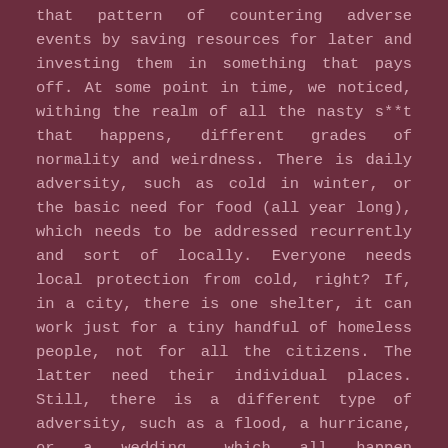that pattern of countering adverse events by saving resources for later and investing them in something that pays off. At some point in time, we noticed, withing the realm of all the nasty s**t that happens, different grades of normality and weirdness. There is daily adversity, such as cold in winter, or the basic need for food (all year long), which needs to be addressed recurrently and sort of locally. Everyone needs local protection from cold, right? If, in a city, there is one shelter, it can work just for a tiny handful of homeless people, not for all the citizens. The latter need their individual places. Still, there is a different type of adversity, such as a flood, a hurricane, or a wedding, which all happen incidentally and are randomly local: they hit a specific subset of population, in a specific place. Although these events are abnormal, they happen abnormally with a certain